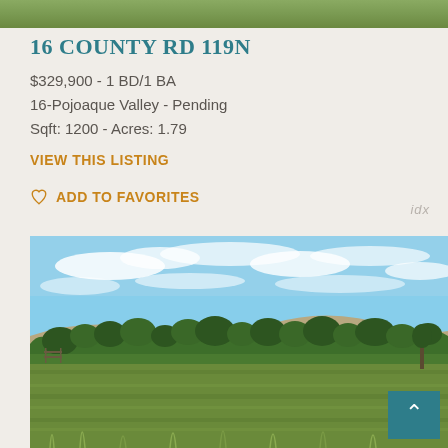[Figure (photo): Thin green landscape strip at top of page — grass and foliage]
16 COUNTY RD 119N
$329,900 - 1 BD/1 BA
16-Pojoaque Valley - Pending
Sqft: 1200 - Acres: 1.79
VIEW THIS LISTING
ADD TO FAVORITES
idx
[Figure (photo): Landscape photo of open green meadow with tall grass, trees, blue sky with scattered clouds, and hills in the background. A back-to-top button with a caret is visible in the bottom right corner.]